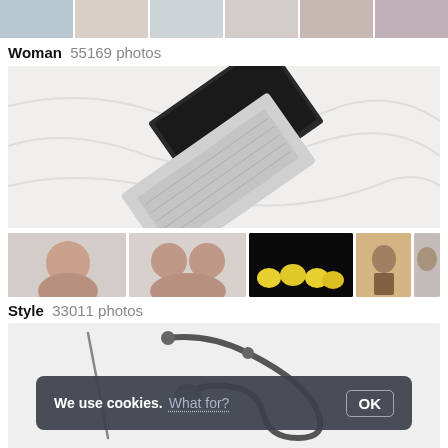[Figure (photo): Strip of woman stock photos thumbnails at top]
Woman  55169 photos
[Figure (photo): Large photo of laptop on white fabric/bed, top-down view]
[Figure (photo): Row of style stock photo thumbnails: man with dog, two women, lemons on black background, woman with book, dog]
Style  33011 photos
[Figure (photo): Large photo of stethoscope and medical tools on white background]
We use cookies.  What for?  OK